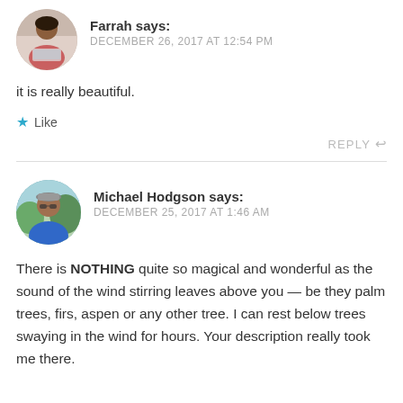[Figure (photo): Circular avatar photo of Farrah, a woman sitting with a laptop]
Farrah says:
DECEMBER 26, 2017 AT 12:54 PM
it is really beautiful.
★ Like
REPLY ↩
[Figure (photo): Circular avatar photo of Michael Hodgson, a man outdoors in a blue shirt]
Michael Hodgson says:
DECEMBER 25, 2017 AT 1:46 AM
There is NOTHING quite so magical and wonderful as the sound of the wind stirring leaves above you — be they palm trees, firs, aspen or any other tree. I can rest below trees swaying in the wind for hours. Your description really took me there.